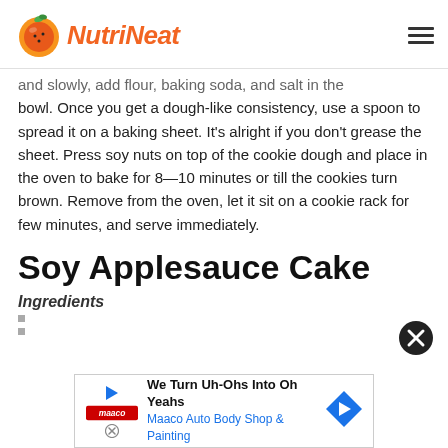NutriNeat
and slowly, add flour, baking soda, and salt in the bowl. Once you get a dough-like consistency, use a spoon to spread it on a baking sheet. It's alright if you don't grease the sheet. Press soy nuts on top of the cookie dough and place in the oven to bake for 8—10 minutes or till the cookies turn brown. Remove from the oven, let it sit on a cookie rack for few minutes, and serve immediately.
Soy Applesauce Cake
Ingredients
[Figure (other): Advertisement banner: We Turn Uh-Ohs Into Oh Yeahs - Maaco Auto Body Shop & Painting]